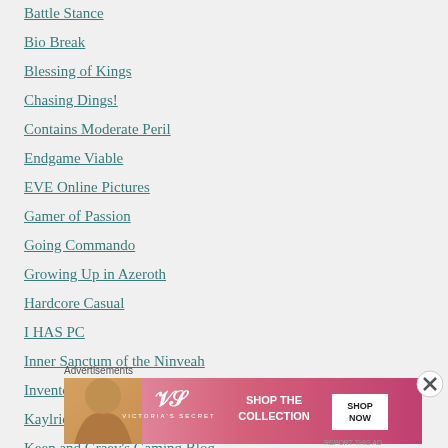Battle Stance
Bio Break
Blessing of Kings
Chasing Dings!
Contains Moderate Peril
Endgame Viable
EVE Online Pictures
Gamer of Passion
Going Commando
Growing Up in Azeroth
Hardcore Casual
I HAS PC
Inner Sanctum of the Ninveah
Inventory Full
Kaylriene
Keen and Graev's Gaming Blog
Advertisements
[Figure (other): Victoria's Secret advertisement banner with a woman, VS logo, 'SHOP THE COLLECTION' text, and 'SHOP NOW' button]